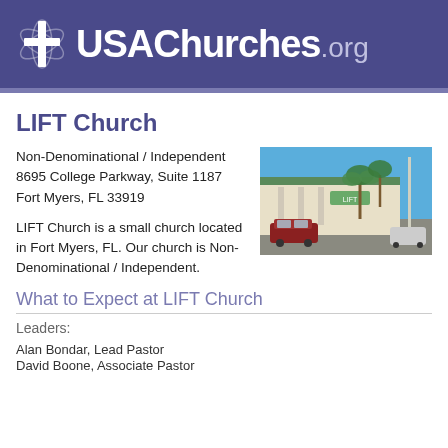USAChurches.org
LIFT Church
Non-Denominational / Independent
8695 College Parkway, Suite 1187
Fort Myers, FL 33919
[Figure (photo): Exterior photo of LIFT Church building in Fort Myers, FL. Single-story commercial building with green roof, palm trees, blue sky, and a red vehicle parked outside.]
LIFT Church is a small church located in Fort Myers, FL. Our church is Non-Denominational / Independent.
What to Expect at LIFT Church
Leaders:
Alan Bondar, Lead Pastor
David Boone, Associate Pastor